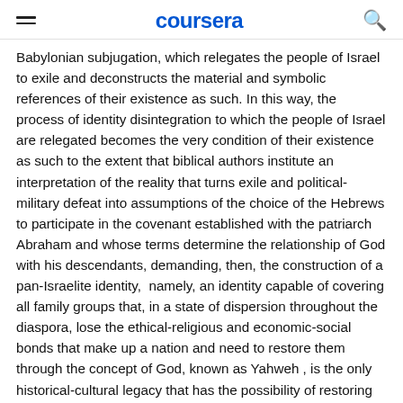coursera
Babylonian subjugation, which relegates the people of Israel to exile and deconstructs the material and symbolic references of their existence as such. In this way, the process of identity disintegration to which the people of Israel are relegated becomes the very condition of their existence as such to the extent that biblical authors institute an interpretation of the reality that turns exile and political-military defeat into assumptions of the choice of the Hebrews to participate in the covenant established with the patriarch Abraham and whose terms determine the relationship of God with his descendants, demanding, then, the construction of a pan-Israelite identity,  namely, an identity capable of covering all family groups that, in a state of dispersion throughout the diaspora, lose the ethical-religious and economic-social bonds that make up a nation and need to restore them through the concept of God, known as Yahweh , is the only historical-cultural legacy that has the possibility of restoring the collective consciousness of the nation.